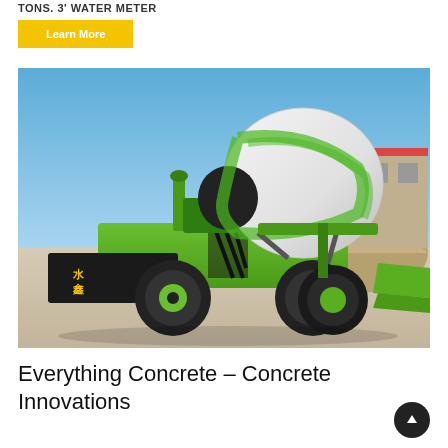TONS. 3' WATER METER
Learn More
[Figure (photo): A green self-loading concrete mixer truck parked on a construction site with a white rotating drum, large tires, and an industrial building in the background under a blue sky.]
Everything Concrete – Concrete Innovations